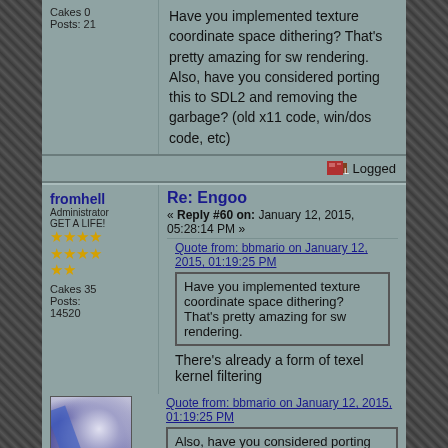Cakes 0
Posts: 21
Have you implemented texture coordinate space dithering? That's pretty amazing for sw rendering. Also, have you considered porting this to SDL2 and removing the garbage? (old x11 code, win/dos code, etc)
Logged
fromhell
Administrator
GET A LIFE!
Cakes 35
Posts: 14520
Re: Engoo
« Reply #60 on: January 12, 2015, 05:28:14 PM »
Quote from: bbmario on January 12, 2015, 01:19:25 PM
Have you implemented texture coordinate space dithering? That's pretty amazing for sw rendering.
There's already a form of texel kernel filtering
Quote from: bbmario on January 12, 2015, 01:19:25 PM
Also, have you considered porting this to SDL2 and removing the garbage? (old x11 code, win/dos code, etc)
:|
Logged
asking when OA3 will be done won't get OA3 done.
Progress of OA3 currently occurs behind closed doors alone

I do not provide technical support either.